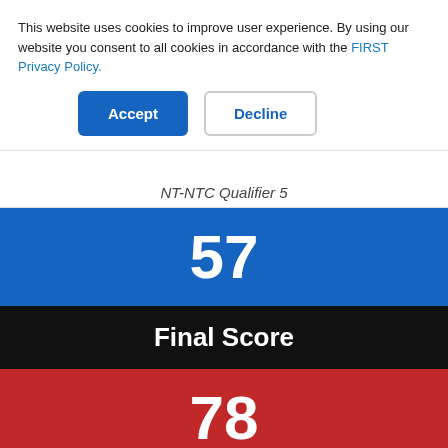This website uses cookies to improve user experience. By using our website you consent to all cookies in accordance with the FIRST Privacy Policy.
Accept
Decline
NT-NTC Qualifier 5
57
Final Score
78
Autonomous
16798 •
310 •